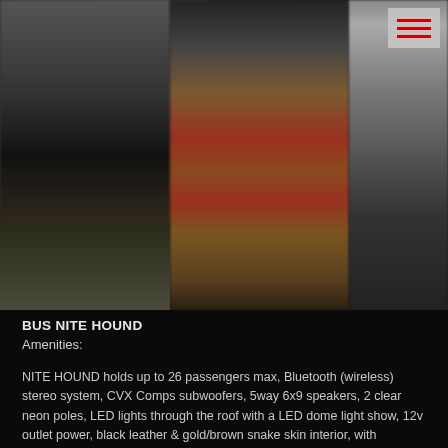[Figure (photo): Blurred interior photograph of a party bus called Nite Hound, showing dark interior with red and tan/brown seating or flooring elements, a menu/navigation icon in the top right corner with three red horizontal bars]
BUS NITE HOUND
Amenities:
NITE HOUND holds up to 26 passengers max, Bluetooth (wireless) stereo system, CVX Comps subwoofers, 5way 6x9 speakers, 2 clear neon poles, LED lights through the roof with a LED dome light show, 12v outlet power, black leather & gold/brown snake skin interior, with